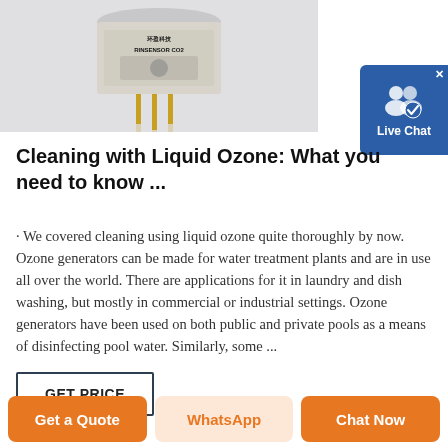[Figure (photo): Close-up photo of a cylindrical electronic sensor component (appears to be a CO2 or gas sensor) with gold pins, labeled RINSENSOR CO2 and Chinese text, on a white/gray background.]
[Figure (screenshot): Live Chat widget button with blue background, white people icon with checkmark, and text 'Live Chat' with an X close button.]
Cleaning with Liquid Ozone: What you need to know ...
· We covered cleaning using liquid ozone quite thoroughly by now. Ozone generators can be made for water treatment plants and are in use all over the world. There are applications for it in laundry and dish washing, but mostly in commercial or industrial settings. Ozone generators have been used on both public and private pools as a means of disinfecting pool water. Similarly, some ...
GET PRICE
Get a Quote
WhatsApp
Chat Now